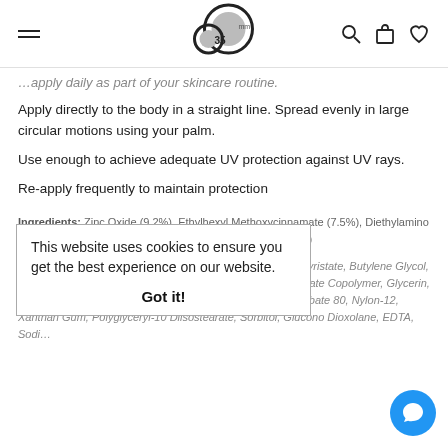35mm logo, navigation icons (search, cart, wishlist), hamburger menu
...apply daily as part of your skincare routine.
Apply directly to the body in a straight line. Spread evenly in large circular motions using your palm.
Use enough to achieve adequate UV protection against UV rays.
Re-apply frequently to maintain protection
Ingredients: Zinc Oxide (9.2%), Ethylhexyl Methoxycinnamate (7.5%), Diethylamino Hydroxybenzoyl Hexyl Benzoate (2.5%), Octocrylene (0.2%)
This website uses cookies to ensure you get the best experience on our website.
Got it!
Inactive Ingredients: Water (Aqua), Alcohol, Octyldodecyl Myristate, Butylene Glycol, Dimethicone, Sodium Acrylate/Sodium Acryloyldimethyltaurate Copolymer, Glycerin, Isohexadecane, Triethoxycaprylylsilane, Methicone, Polysorbate 80, Nylon-12, Xanthan Gum, Polyglyceryl-10 Diisostearate, Sorbitol, Glucono Dioxolane, EDTA, Sodi...